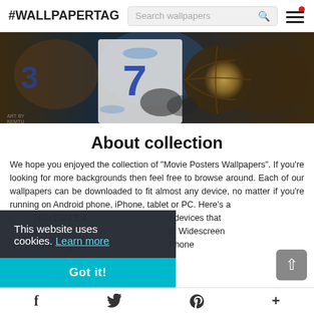#WALLPAPERTAG | Search wallpapers | [menu]
[Figure (photo): Basketball player in white jersey number 7, holding a basketball, artistic/grunge style with blue and orange tones]
About collection
We hope you enjoyed the collection of "Movie Posters Wallpapers". If you're looking for more backgrounds then feel free to browse around. Each of our wallpapers can be downloaded to fit almost any device, no matter if you're running on Android phone, iPhone, tablet or PC. Here's a [list of] devices that [support resolutions like] 1280x1024 5:4 [ratio,] Widescreen [1920x108]0, [1920x120]3, 1080[p,] Phone [...] If you've got
This website uses cookies. Learn more
Got it!
f  [Twitter bird]  p  +